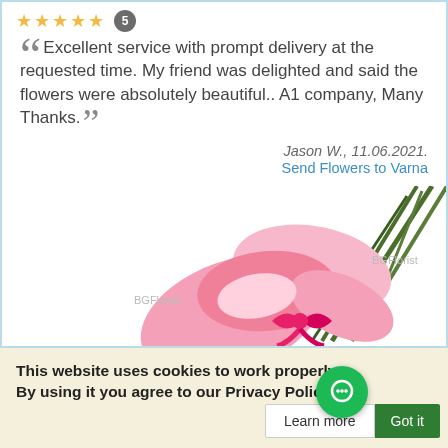[Figure (other): Five gold star rating icons and a dark circular badge with the number 5]
Excellent service with prompt delivery at the requested time. My friend was delighted and said the flowers were absolutely beautiful.. A1 company, Many Thanks.
Jason W., 11.06.2021.
Send Flowers to Varna
[Figure (photo): Bouquet of pink flowers with green stems tied with a bright pink ribbon, with BGFlorist watermark labels]
This website uses cookies to work properly. By using it you agree to our Privacy Policy.